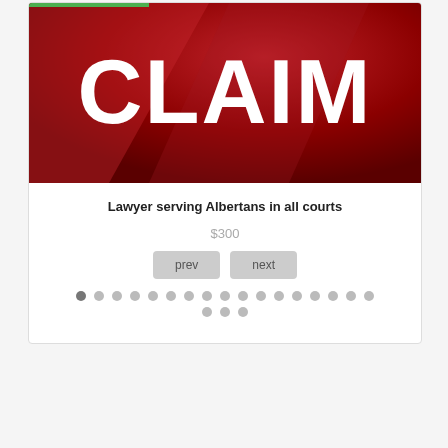[Figure (photo): Dark red background with large white bold text reading CLAIM]
Lawyer serving Albertans in all courts
$300